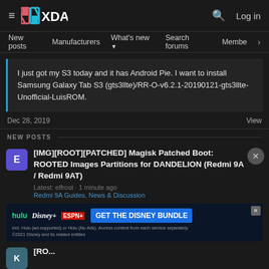XDA | Log in
New posts | Manufacturers | What's new | Search forums | Members
I just got my S3 today and it has Android Pie. I want to install Samsung Galaxy Tab S3 (gts3llte)/RR-O-v6.2.1-20190121-gts3llte-Unofficial-LuisROM.
Dec 28, 2019    View
NEW POSTS
[IMG][ROOT][PATCHED] Magisk Patched Boot: ROOTED Images Partitions for DANDELION (Redmi 9A / Redmi 9AT)
Latest: elfrost · 1 minute ago
Redmi 9A Guides, News & Discussion
[Figure (screenshot): Disney Bundle advertisement banner showing Hulu, Disney+, and ESPN+ logos with 'GET THE DISNEY BUNDLE' call to action]
[RO...
Latest: juarox · 4 minutes ago
OnePlus & ROMs, Kernel, Recoveries, Other Dev-al